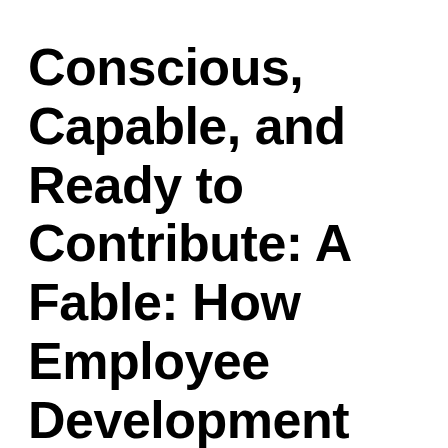Conscious, Capable, and Ready to Contribute: A Fable: How Employee Development Can Become the Highest Form of Social Contribution